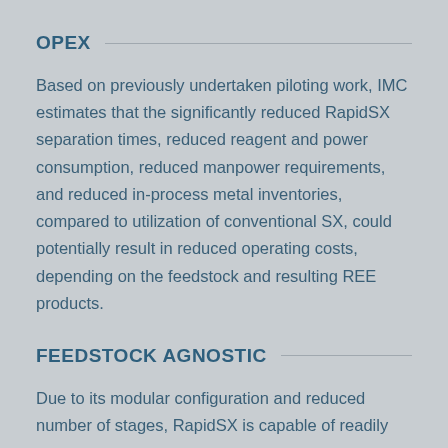OPEX
Based on previously undertaken piloting work, IMC estimates that the significantly reduced RapidSX separation times, reduced reagent and power consumption, reduced manpower requirements, and reduced in-process metal inventories, compared to utilization of conventional SX, could potentially result in reduced operating costs, depending on the feedstock and resulting REE products.
FEEDSTOCK AGNOSTIC
Due to its modular configuration and reduced number of stages, RapidSX is capable of readily